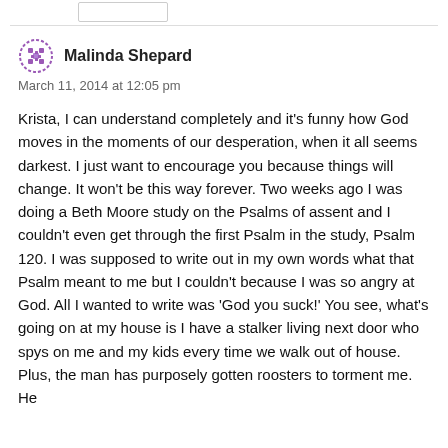Malinda Shepard
March 11, 2014 at 12:05 pm
Krista, I can understand completely and it’s funny how God moves in the moments of our desperation, when it all seems darkest. I just want to encourage you because things will change. It won’t be this way forever. Two weeks ago I was doing a Beth Moore study on the Psalms of assent and I couldn’t even get through the first Psalm in the study, Psalm 120. I was supposed to write out in my own words what that Psalm meant to me but I couldn’t because I was so angry at God. All I wanted to write was ‘God you suck!’ You see, what’s going on at my house is I have a stalker living next door who spys on me and my kids every time we walk out of house. Plus, the man has purposely gotten roosters to torment me. He